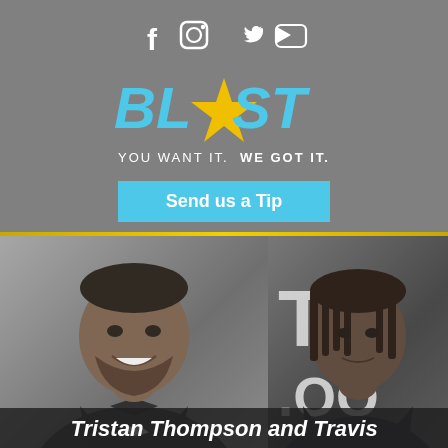[Figure (logo): Social media icons: Facebook, Instagram, Twitter, YouTube in white on gray background]
[Figure (logo): BLAST logo with blue bold letters BL and ST, gold/yellow star in the middle, tagline YOU WANT IT. WE GOT IT.]
Send us a Tip
Click or 844.412.5278
[Figure (photo): Side-by-side photos of Tristan Thompson (left, in black tuxedo and bow tie) and Travis Scott (right, in dark outfit with braids)]
Tristan Thompson and Travis